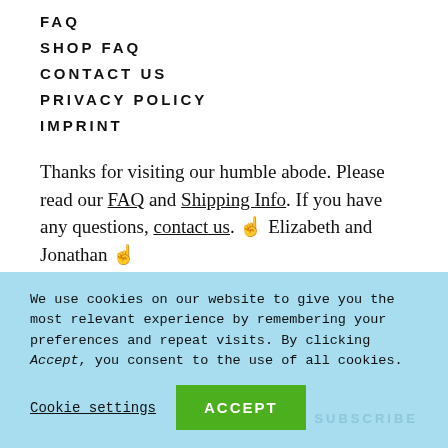FAQ
SHOP FAQ
CONTACT US
PRIVACY POLICY
IMPRINT
Thanks for visiting our humble abode. Please read our FAQ and Shipping Info. If you have any questions, contact us. 🤞 Elizabeth and Jonathan 🤞
We use cookies on our website to give you the most relevant experience by remembering your preferences and repeat visits. By clicking Accept, you consent to the use of all cookies.
Cookie settings  ACCEPT